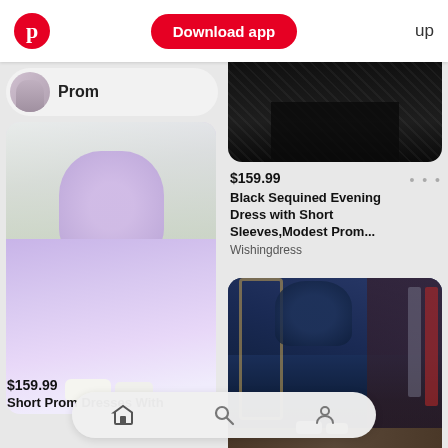Download app  up
[Figure (screenshot): Pinterest mobile app screenshot showing prom dresses. Top bar with Pinterest logo, Download app red button, and 'up' text. Left column shows Prom pill header with avatar, then a lavender/lilac short prom dress with lace bodice and 3/4 sleeves. Right column shows partial black sequined dress at top, product info for $159.99 Black Sequined Evening Dress with Short Sleeves, Modest Prom... from Wishingdress, then a navy blue ball gown with off-shoulder lace bodice and long sleeves. Bottom navigation bar with home, search, and profile icons. Bottom left text: $159.99 Short Prom Dresses With]
Prom
$159.99
Black Sequined Evening Dress with Short Sleeves,Modest Prom...
Wishingdress
$159.99
Short Prom Dresses With